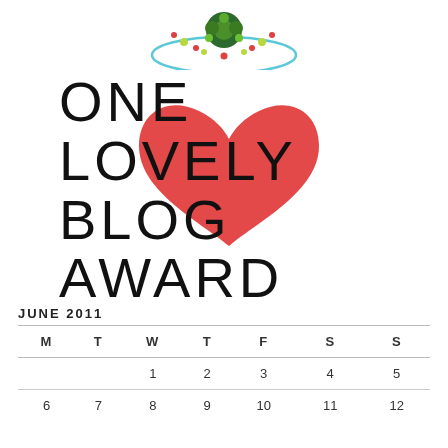[Figure (logo): Circular logo with colorful dots in green, red, yellow arranged in a pattern with a blue arc border]
[Figure (illustration): One Lovely Blog Award badge with large block text reading ONE LOVELY BLOG AWARD overlaid with a large red heart illustration]
JUNE 2011
| M | T | W | T | F | S | S |
| --- | --- | --- | --- | --- | --- | --- |
|  |  | 1 | 2 | 3 | 4 | 5 |
| 6 | 7 | 8 | 9 | 10 | 11 | 12 |